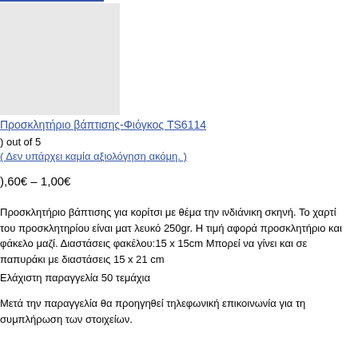[Figure (photo): Product image placeholder — light grey square]
Προσκλητήριο βάπτισης-Φιόγκος TS6114
) out of 5
( Δεν υπάρχει καμία αξιολόγηση ακόμη. )
),60€ – 1,00€
Προσκλητήριο βάπτισης για κορίτσι με θέμα την ινδιάνικη σκηνή. Το χαρτί του προσκλητηρίου είναι ματ λευκό 250gr. Η τιμή αφορά προσκλητήριο και φάκελο μαζί. Διαστάσεις φακέλου:15 x 15cm Μπορεί να γίνει και σε παπυράκι με διαστάσεις 15 x 21 cm
Ελάχιστη παραγγελία 50 τεμάχια
Μετά την παραγγελία θα προηγηθεί τηλεφωνική επικοινωνία για τη συμπλήρωση των στοιχείων.